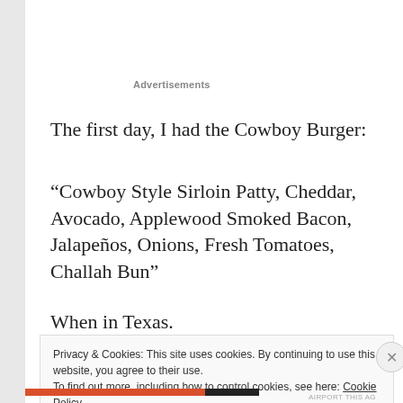Advertisements
The first day, I had the Cowboy Burger:
“Cowboy Style Sirloin Patty, Cheddar, Avocado, Applewood Smoked Bacon, Jalapeños, Onions, Fresh Tomatoes, Challah Bun”
When in Texas.
Privacy & Cookies: This site uses cookies. By continuing to use this website, you agree to their use.
To find out more, including how to control cookies, see here: Cookie Policy
Close and accept